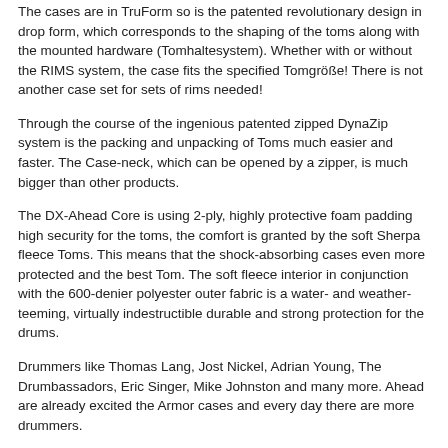The cases are in TruForm so is the patented revolutionary design in drop form, which corresponds to the shaping of the toms along with the mounted hardware (Tomhaltesystem). Whether with or without the RIMS system, the case fits the specified Tomgröße! There is not another case set for sets of rims needed!
Through the course of the ingenious patented zipped DynaZip system is the packing and unpacking of Toms much easier and faster. The Case-neck, which can be opened by a zipper, is much bigger than other products.
The DX-Ahead Core is using 2-ply, highly protective foam padding high security for the toms, the comfort is granted by the soft Sherpa fleece Toms. This means that the shock-absorbing cases even more protected and the best Tom. The soft fleece interior in conjunction with the 600-denier polyester outer fabric is a water- and weather-teeming, virtually indestructible durable and strong protection for the drums.
Drummers like Thomas Lang, Jost Nickel, Adrian Young, The Drumbassadors, Eric Singer, Mike Johnston and many more. Ahead are already excited the Armor cases and every day there are more drummers.